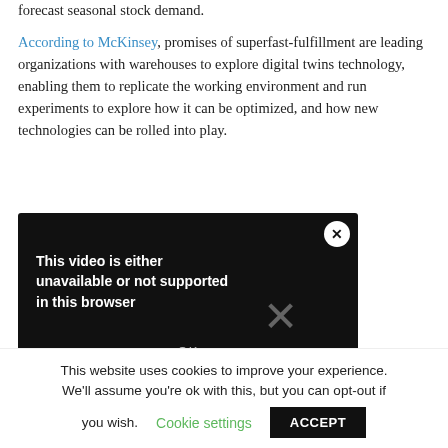forecast seasonal stock demand.
According to McKinsey, promises of superfast-fulfillment are leading organizations with warehouses to explore digital twins technology, enabling them to replicate the working environment and run experiments to explore how it can be optimized, and how new technologies can be rolled into play.
[Figure (screenshot): Video player showing error message: 'This video is either unavailable or not supported in this browser' with an X close button and OK button, on a black background.]
This website uses cookies to improve your experience. We'll assume you're ok with this, but you can opt-out if you wish. Cookie settings ACCEPT